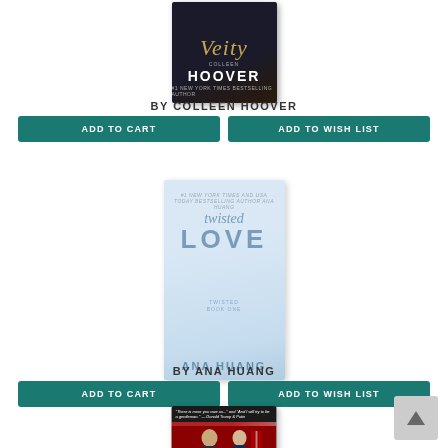[Figure (photo): Book cover: Verity by Colleen Hoover, dark background with gold script title]
BY COLLEEN HOOVER
ADD TO CART
ADD TO WISH LIST
[Figure (photo): Book cover: Twisted Love by Ana Huang, light blue/white cover with script and bold typography]
BY ANA HUANG
ADD TO CART
ADD TO WISH LIST
[Figure (photo): Book cover with dark header text and political figures photo below]